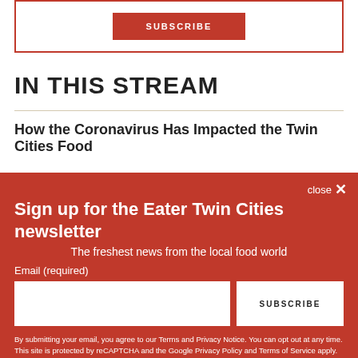[Figure (other): Subscribe button inside a red-bordered box at the top of the page]
IN THIS STREAM
How the Coronavirus Has Impacted the Twin Cities Food
close ×
Sign up for the Eater Twin Cities newsletter
The freshest news from the local food world
Email (required)
SUBSCRIBE
By submitting your email, you agree to our Terms and Privacy Notice. You can opt out at any time. This site is protected by reCAPTCHA and the Google Privacy Policy and Terms of Service apply.